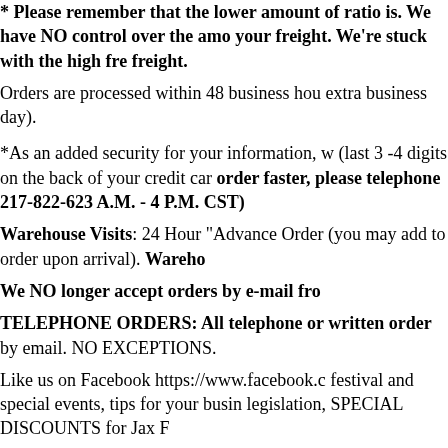* Please remember that the lower amount of ratio is. We have NO control over the amount of your freight. We're stuck with the high freight. Orders are processed within 48 business hours (extra business day). *As an added security for your information, w (last 3 -4 digits on the back of your credit car order faster, please telephone 217-822-6230 A.M. - 4 P.M. CST) Warehouse Visits: 24 Hour "Advance Order (you may add to order upon arrival). Wareho We NO longer accept orders by e-mail from TELEPHONE ORDERS: All telephone orders written order by email. NO EXCEPTIONS. Like us on Facebook https://www.facebook.c festival and special events, tips for your busin legislation, SPECIAL DISCOUNTS for Jax F Festival, Parades, Flea Market Info.: https://s